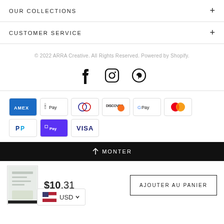OUR COLLECTIONS
CUSTOMER SERVICE
© 2022 ARRA Creative. All Rights Reserved. Powered by Shopify.
[Figure (other): Social media icons: Facebook, Instagram, Pinterest]
[Figure (other): Payment method logos: American Express, Apple Pay, Diners Club, Discover, Google Pay, Mastercard, PayPal, Shop Pay, Visa]
↑ MONTER
$10.31
AJOUTER AU PANIER